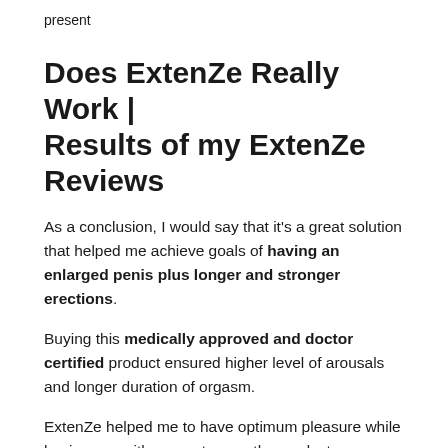present
Does ExtenZe Really Work | Results of my ExtenZe Reviews
As a conclusion, I would say that it's a great solution that helped me achieve goals of having an enlarged penis plus longer and stronger erections.
Buying this medically approved and doctor certified product ensured higher level of arousals and longer duration of orgasm.
ExtenZe helped me to have optimum pleasure while having sex with my partner as the product came with free penis lubricants that made us urge for more sex. Tested compatible